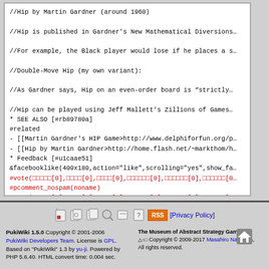//Hip by Martin Gardner (around 1960)
//Hip is published in Gardner's New Mathematical Diversions...
//For example, the Black player would lose if he places a s...
//Double-Move Hip (my own variant):
//As Gardner says, Hip on an even-order board is "strictly...
//Hip can be played using Jeff Mallett's Zillions of Games...
* SEE ALSO [#rb89780a]
#related
- [[Martin Gardner's HIP Game>http://www.delphiforfun.org/p...
- [[Hip by Martin Gardner>http://home.flash.net/~markthom/h...
* Feedback [#u1caae51]
&facebooklike(400x180,action="like",scrolling="yes",show_fa...
#vote(...[0],...[0],...[0],...[0],...[0],...[0...
#pcomment_nospam(noname)
#vote(...[0],...[0],...[0],...[1],...[0],...[0...
//#pcomment_nospam(noname)
PukiWiki 1.5.0 Copyright © 2001-2006 PukiWiki Developers Team. License is GPL. Based on "PukiWiki" 1.3 by yu-ji. Powered by PHP 5.6.40. HTML convert time: 0.004 sec. | The Museum of Abstract Strategy Games. Copyright © 2009-2017 Masahiro Nakajima, All rights reserved.